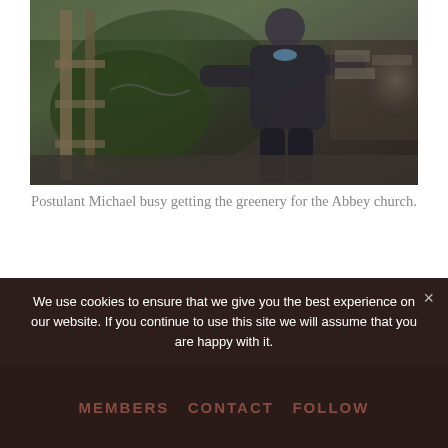[Figure (photo): A person (Postulant Michael) handling evergreen pine/fir branches outdoors near a wooden fence structure and stone wall, likely in a garden or abbey grounds setting.]
Postulant Michael busy getting the greenery for the Abbey church.
We use cookies to ensure that we give you the best experience on our website. If you continue to use this site we will assume that you are happy with it.
MEMBERS  CONTACT  FOLLOW